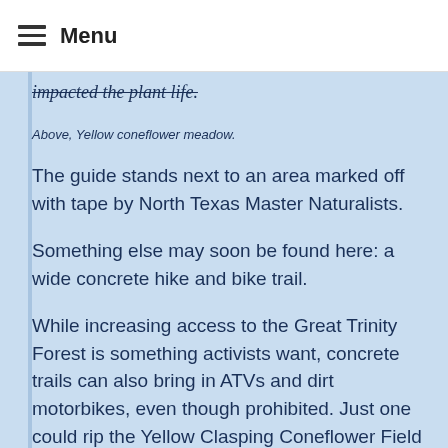Menu
impacted the plant life.
Above, Yellow coneflower meadow.
The guide stands next to an area marked off with tape by North Texas Master Naturalists.
Something else may soon be found here: a wide concrete hike and bike trail.
While increasing access to the Great Trinity Forest is something activists want, concrete trails can also bring in ATVs and dirt motorbikes, even though prohibited. Just one could rip the Yellow Clasping Coneflower Field to shreds in minutes.
FOREST PRIMEVAL